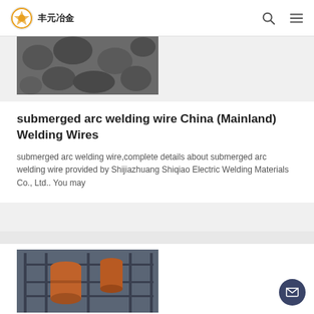丰元冶金 [logo] | search icon | menu icon
[Figure (photo): Partial view of dark metallic ore/material pieces, black and white photo, cropped at top]
submerged arc welding wire China (Mainland) Welding Wires
submerged arc welding wire,complete details about submerged arc welding wire provided by Shijiazhuang Shiqiao Electric Welding Materials Co., Ltd.. You may
[Figure (photo): Industrial factory equipment showing large orange cylindrical tanks/vessels on metal scaffolding structure]